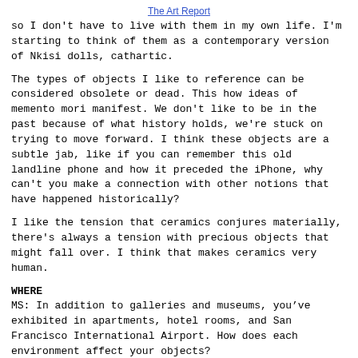The Art Report
so I don't have to live with them in my own life. I'm starting to think of them as a contemporary version of Nkisi dolls, cathartic.
The types of objects I like to reference can be considered obsolete or dead. This how ideas of memento mori manifest. We don't like to be in the past because of what history holds, we're stuck on trying to move forward. I think these objects are a subtle jab, like if you can remember this old landline phone and how it preceded the iPhone, why can't you make a connection with other notions that have happened historically?
I like the tension that ceramics conjures materially, there's always a tension with precious objects that might fall over. I think that makes ceramics very human.
WHERE
MS: In addition to galleries and museums, you’ve exhibited in apartments, hotel rooms, and San Francisco International Airport. How does each environment affect your objects?
With “where” in mind, let’s also talk about